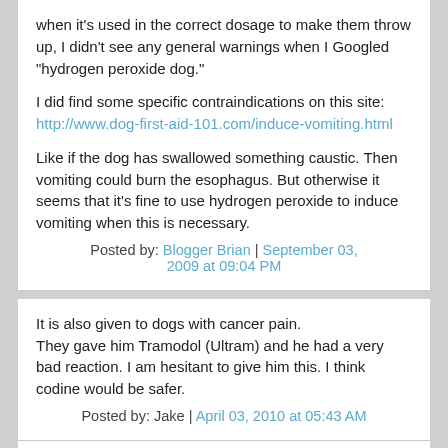when it's used in the correct dosage to make them throw up, I didn't see any general warnings when I Googled "hydrogen peroxide dog."
I did find some specific contraindications on this site: http://www.dog-first-aid-101.com/induce-vomiting.html
Like if the dog has swallowed something caustic. Then vomiting could burn the esophagus. But otherwise it seems that it's fine to use hydrogen peroxide to induce vomiting when this is necessary.
Posted by: Blogger Brian | September 03, 2009 at 09:04 PM
It is also given to dogs with cancer pain.
They gave him Tramodol (Ultram) and he had a very bad reaction. I am hesitant to give him this. I think codine would be safer.
Posted by: Jake | April 03, 2010 at 05:43 AM